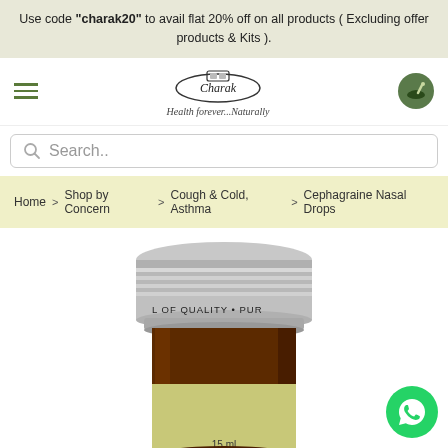Use code "charak20" to avail flat 20% off on all products ( Excluding offer products & Kits ).
[Figure (logo): Charak logo with tagline 'Health forever...Naturally']
Search..
Home > Shop by Concern > Cough & Cold, Asthma > Cephagraine Nasal Drops
[Figure (photo): Close-up of Cephagraine Nasal Drops 15ml amber glass bottle with silver metal cap, label partially visible showing Charak branding]